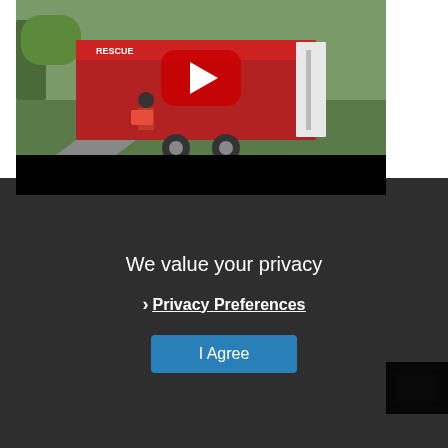[Figure (screenshot): YouTube video thumbnail showing a red rescue trailer with a YouTube play button overlay. The trailer appears to be a fire/rescue equipment trailer with its door open. Below is a black bar.]
[Figure (screenshot): Sammy's Place widget with a sunset/silhouette image showing petroglyphs-style figures of animals and people against an orange and dark sky. Text below reads 'Communities of All Abilities Succeeding Together' and 'Economic Development - Accessibility - Housing & Community Vitality']
We value your privacy
Privacy Preferences
I Agree